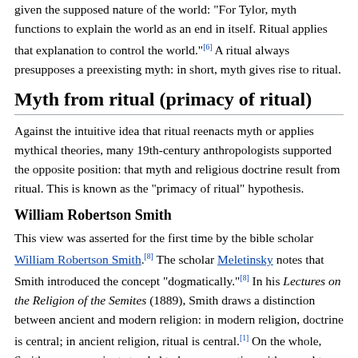given the supposed nature of the world: "For Tylor, myth functions to explain the world as an end in itself. Ritual applies that explanation to control the world."[6] A ritual always presupposes a preexisting myth: in short, myth gives rise to ritual.
Myth from ritual (primacy of ritual)
Against the intuitive idea that ritual reenacts myth or applies mythical theories, many 19th-century anthropologists supported the opposite position: that myth and religious doctrine result from ritual. This is known as the "primacy of ritual" hypothesis.
William Robertson Smith
This view was asserted for the first time by the bible scholar William Robertson Smith.[8] The scholar Meletinsky notes that Smith introduced the concept "dogmatically."[8] In his Lectures on the Religion of the Semites (1889), Smith draws a distinction between ancient and modern religion: in modern religion, doctrine is central; in ancient religion, ritual is central.[1] On the whole, Smith argues, ancients tended to be conservative with regard to rituals, making sure to pass them down faithfully. In contrast, the myths that justified those rituals could change. In fact, according to